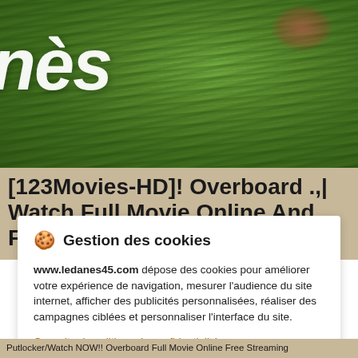[Figure (photo): Green grass background with partial white italic brand/logo text 'nès' visible on the left, and a hint of red shoes at the top right]
[123Movies-HD]! Overboard .,| Watch Full Movie Online And Free
🍪  Gestion des cookies

www.ledanes45.com dépose des cookies pour améliorer votre expérience de navigation, mesurer l'audience du site internet, afficher des publicités personnalisées, réaliser des campagnes ciblées et personnaliser l'interface du site.

Consulter la politique de confidentialité

[Refuser] [Paramétrer] [Accepter]
Watch Full Movie Online Cinema Direct...| Putlocker/Watch NOW!! Overboard Full Movie Online Free Streaming